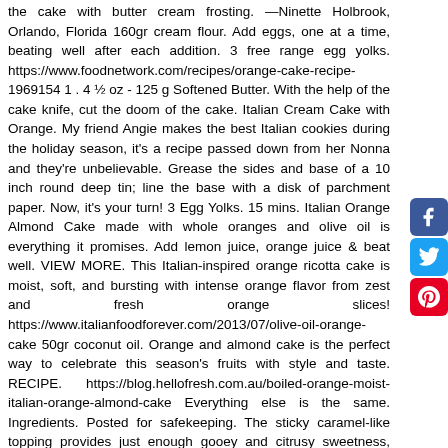the cake with butter cream frosting. —Ninette Holbrook, Orlando, Florida 160gr cream flour. Add eggs, one at a time, beating well after each addition. 3 free range egg yolks. https://www.foodnetwork.com/recipes/orange-cake-recipe-1969154 1 . 4 ½ oz - 125 g Softened Butter. With the help of the cake knife, cut the doom of the cake. Italian Cream Cake with Orange. My friend Angie makes the best Italian cookies during the holiday season, it's a recipe passed down from her Nonna and they're unbelievable. Grease the sides and base of a 10 inch round deep tin; line the base with a disk of parchment paper. Now, it's your turn! 3 Egg Yolks. 15 mins. Italian Orange Almond Cake made with whole oranges and olive oil is everything it promises. Add lemon juice, orange juice & beat well. VIEW MORE. This Italian-inspired orange ricotta cake is moist, soft, and bursting with intense orange flavor from zest and fresh orange slices! https://www.italianfoodforever.com/2013/07/olive-oil-orange-cake 50gr coconut oil. Orange and almond cake is the perfect way to celebrate this season's fruits with style and taste. RECIPE. https://blog.hellofresh.com.au/boiled-orange-moist-italian-orange-almond-cake Everything else is the same. Ingredients. Posted for safekeeping. The sticky caramel-like topping provides just enough gooey and citrusy sweetness, while the mild and fruity olive oil flavor balances the cake perfectly. READY IN: 1hr 10mins. Italian Translation of "orange" | The official Collins English-Italian Dictionary online. This Italian orange cake recipe is made with...
[Figure (infographic): Social media sharing buttons: Facebook (blue), Twitter (light blue), Pinterest (red)]